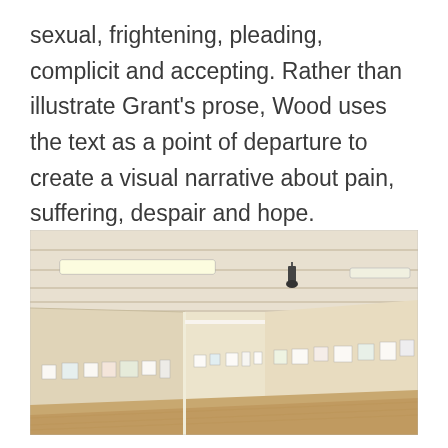sexual, frightening, pleading, complicit and accepting. Rather than illustrate Grant's prose, Wood uses the text as a point of departure to create a visual narrative about pain, suffering, despair and hope.
[Figure (photo): Interior view of an art gallery with light wood panelled walls and ceiling, fluorescent strip lighting and a spot light hanging from the ceiling. Small artworks are mounted in a horizontal row along the walls at a low height. The floor is light wood parquet.]